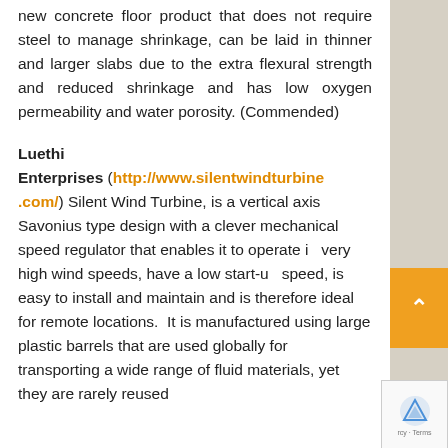new concrete floor product that does not require steel to manage shrinkage, can be laid in thinner and larger slabs due to the extra flexural strength and reduced shrinkage and has low oxygen permeability and water porosity. (Commended)
Luethi Enterprises
Luethi Enterprises (http://www.silentwindturbine.com/) Silent Wind Turbine, is a vertical axis Savonius type design with a clever mechanical speed regulator that enables it to operate in very high wind speeds, have a low start-up speed, is easy to install and maintain and is therefore ideal for remote locations. It is manufactured using large plastic barrels that are used globally for transporting a wide range of fluid materials, yet they are rarely reused